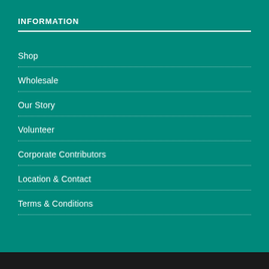INFORMATION
Shop
Wholesale
Our Story
Volunteer
Corporate Contributors
Location & Contact
Terms & Conditions